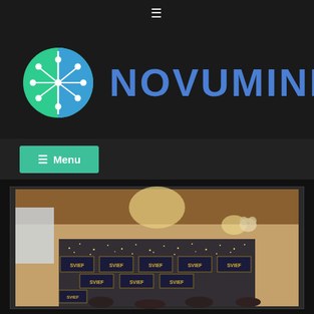☰
[Figure (logo): NovuMind logo: circular brain/network icon in teal and blue-green with white nodes and lines, alongside bold blue text NOVUMIND]
☰ Menu
[Figure (photo): Indoor event photo showing people standing in front of multiple SVIEF branded banners/backdrop with sparkle lights, in a conference/banquet room setting]